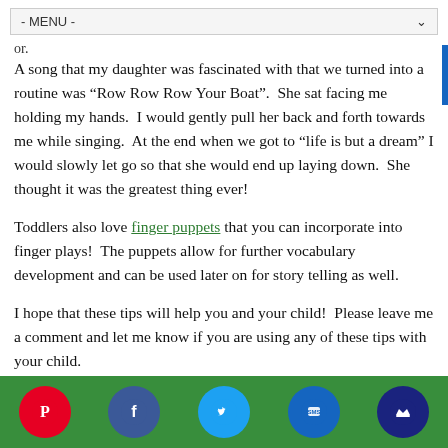- MENU -
or.
A song that my daughter was fascinated with that we turned into a routine was “Row Row Row Your Boat”.  She sat facing me holding my hands.  I would gently pull her back and forth towards me while singing.  At the end when we got to “life is but a dream” I would slowly let go so that she would end up laying down.  She thought it was the greatest thing ever!
Toddlers also love finger puppets that you can incorporate into finger plays!  The puppets allow for further vocabulary development and can be used later on for story telling as well.
I hope that these tips will help you and your child!  Please leave me a comment and let me know if you are using any of these tips with your child.
[Figure (infographic): Social media sharing bar with icons for Pinterest (red), Facebook (dark blue), Twitter (light blue), SMS (blue), and a crown icon (dark navy), displayed against a green background.]